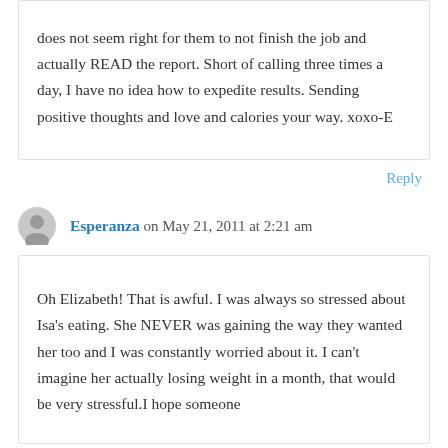does not seem right for them to not finish the job and actually READ the report. Short of calling three times a day, I have no idea how to expedite results. Sending positive thoughts and love and calories your way. xoxo-E
Reply
Esperanza on May 21, 2011 at 2:21 am
Oh Elizabeth! That is awful. I was always so stressed about Isa's eating. She NEVER was gaining the way they wanted her too and I was constantly worried about it. I can't imagine her actually losing weight in a month, that would be very stressful.I hope someone